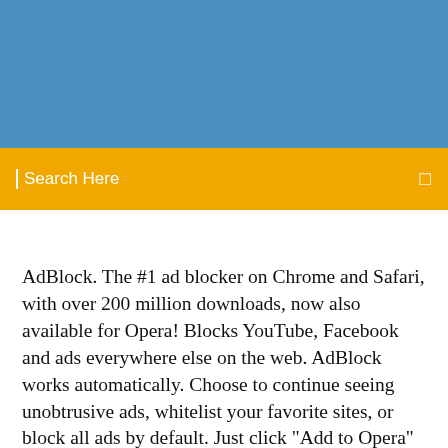[Figure (other): Blue banner header area at the top of the page]
Search Here
AdBlock. The #1 ad blocker on Chrome and Safari, with over 200 million downloads, now also available for Opera! Blocks YouTube, Facebook and ads everywhere else on the web. AdBlock works automatically. Choose to continue seeing unobtrusive ads, whitelist your favorite sites, or block all ads by default. Just click "Add to Opera" then visit your